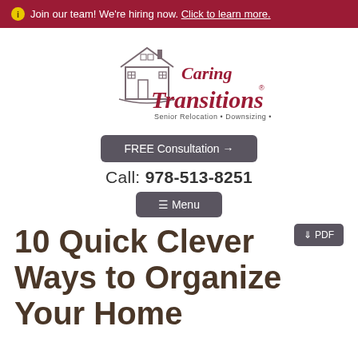ℹ Join our team! We're hiring now. Click to learn more.
[Figure (logo): Caring Transitions logo with house illustration and tagline: Senior Relocation • Downsizing • Estate Sales]
FREE Consultation →
Call: 978-513-8251
≡ Menu
10 Quick Clever Ways to Organize Your Home